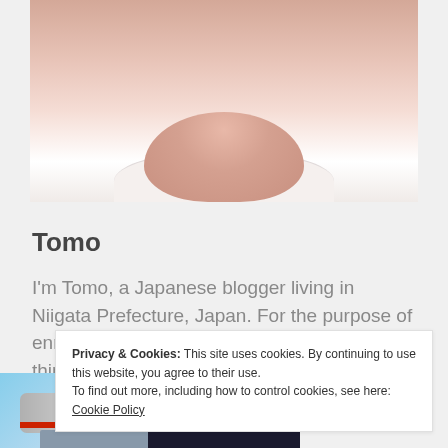[Figure (photo): Close-up photo of a baby or young child's face/chin area with white collar, cropped at top]
Tomo
I'm Tomo, a Japanese blogger living in Niigata Prefecture, Japan. For the purpose of enriching your life, I would like to introduce things about Japan on this blog, especially unique, Japanese
Privacy & Cookies: This site uses cookies. By continuing to use this website, you agree to their use.
To find out more, including how to control cookies, see here: Cookie Policy
[Figure (photo): Advertisement banner showing an airplane being loaded with cargo, with a dark overlay reading WITHOUT REGARD TO POLITICS, RELIGION, OR ABILITY TO PAY]